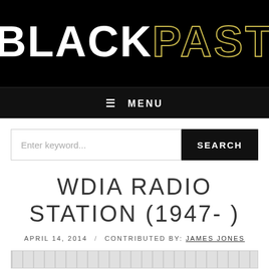[Figure (logo): BlackPast logo — 'BLACK' in bold white, 'PAST' in outlined gold/yellow on black background]
☰ MENU
Enter keyword...  SEARCH
WDIA RADIO STATION (1947- )
APRIL 14, 2014  /  CONTRIBUTED BY: JAMES JONES
[Figure (photo): Partial image strip at bottom of page — grayscale photo]